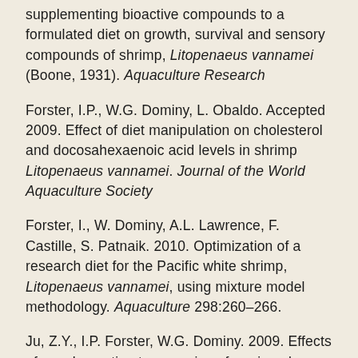supplementing bioactive compounds to a formulated diet on growth, survival and sensory compounds of shrimp, Litopenaeus vannamei (Boone, 1931). Aquaculture Research
Forster, I.P., W.G. Dominy, L. Obaldo. Accepted 2009. Effect of diet manipulation on cholesterol and docosahexaenoic acid levels in shrimp Litopenaeus vannamei. Journal of the World Aquaculture Society
Forster, I., W. Dominy, A.L. Lawrence, F. Castille, S. Patnaik. 2010. Optimization of a research diet for the Pacific white shrimp, Litopenaeus vannamei, using mixture model methodology. Aquaculture 298:260-266.
Ju, Z.Y., I.P. Forster, W.G. Dominy. 2009. Effects of supplementing two species of marine algae or their fractions to a formulated diet on growth, survival and composition of shrimp (Litopenaeus vannamei). Aquaculture 292:237-243